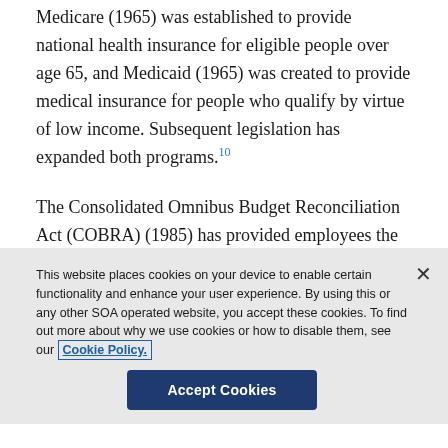Medicare (1965) was established to provide national health insurance for eligible people over age 65, and Medicaid (1965) was created to provide medical insurance for people who qualify by virtue of low income. Subsequent legislation has expanded both programs.[10]
The Consolidated Omnibus Budget Reconciliation Act (COBRA) (1985) has provided employees the ability to continue employer-based health insurance coverage after terminating employment for a period of time.[11] COBRA has...
This website places cookies on your device to enable certain functionality and enhance your user experience. By using this or any other SOA operated website, you accept these cookies. To find out more about why we use cookies or how to disable them, see our Cookie Policy.
Accept Cookies